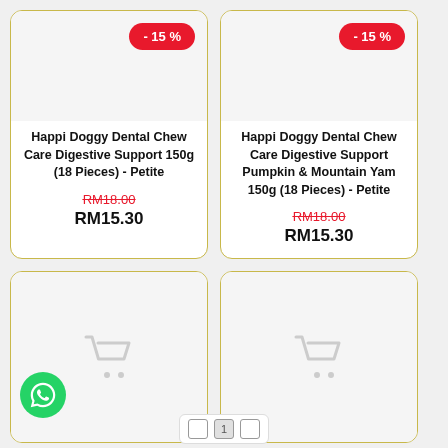[Figure (screenshot): E-commerce product grid showing 4 product cards, 2 columns. Top row: two Happi Doggy Dental Chew products with -15% discount badges and pricing. Bottom row: two product cards showing cart icons and a WhatsApp button.]
Happi Doggy Dental Chew Care Digestive Support 150g (18 Pieces) - Petite
RM18.00 RM15.30
Happi Doggy Dental Chew Care Digestive Support Pumpkin & Mountain Yam 150g (18 Pieces) - Petite
RM18.00 RM15.30